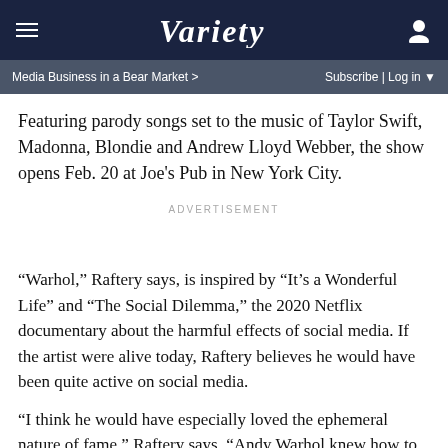VARIETY — Media Business in a Bear Market > | Subscribe | Log in
Featuring parody songs set to the music of Taylor Swift, Madonna, Blondie and Andrew Lloyd Webber, the show opens Feb. 20 at Joe's Pub in New York City.
ADVERTISEMENT
“Warhol,” Raftery says, is inspired by “It’s a Wonderful Life” and “The Social Dilemma,” the 2020 Netflix documentary about the harmful effects of social media. If the artist were alive today, Raftery believes he would have been quite active on social media.
“I think he would have especially loved the ephemeral nature of fame,” Raftery says. “Andy Warhol knew how to pick out an interesting personality and how to use them to his advantage.